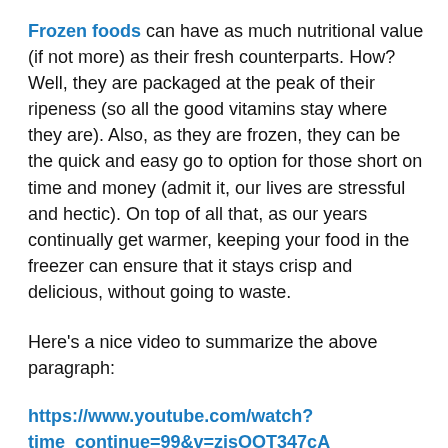Frozen foods can have as much nutritional value (if not more) as their fresh counterparts. How? Well, they are packaged at the peak of their ripeness (so all the good vitamins stay where they are). Also, as they are frozen, they can be the quick and easy go to option for those short on time and money (admit it, our lives are stressful and hectic). On top of all that, as our years continually get warmer, keeping your food in the freezer can ensure that it stays crisp and delicious, without going to waste.
Here's a nice video to summarize the above paragraph:
https://www.youtube.com/watch?time_continue=99&v=zjsOOT347cA